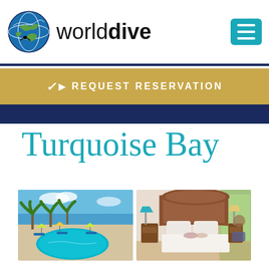worlddive
[Figure (screenshot): REQUEST RESERVATION gold bar with arrow icon]
Turquoise Bay
[Figure (photo): Two photos side by side: left shows a tropical pool with palm trees and colorful umbrellas; right shows a hotel bedroom with wooden furniture and white bedding.]